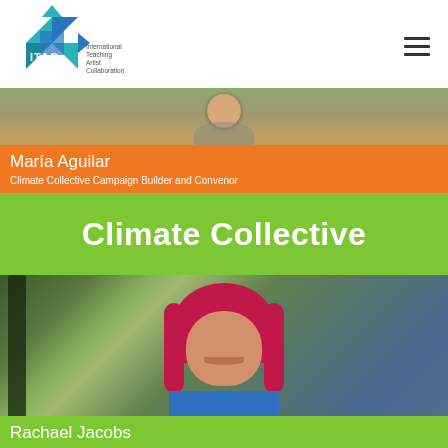[Figure (logo): ITAC (International Teaching Artist Collaboration) logo — geometric blue/teal pinwheel shapes with text]
[Figure (photo): Photo of María Aguilar with orange banner overlay showing name and title]
María Aguilar
Climate Collective Campaign Builder and Convenor
Climate Collective
[Figure (photo): Photo of Rachael Jacobs with green banner at bottom showing name]
Rachael Jacobs